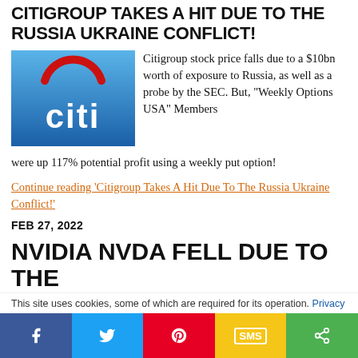CITIGROUP TAKES A HIT DUE TO THE RUSSIA UKRAINE CONFLICT!
[Figure (logo): Citigroup (citi) logo - blue gradient background with white lowercase 'citi' text and red arc above]
Citigroup stock price falls due to a $10bn worth of exposure to Russia, as well as a probe by the SEC. But, "Weekly Options USA" Members were up 117% potential profit using a weekly put option!
Continue reading 'Citigroup Takes A Hit Due To The Russia Ukraine Conflict!'
FEB 27, 2022
NVIDIA NVDA FELL DUE TO THE
This site uses cookies, some of which are required for its operation. Privacy